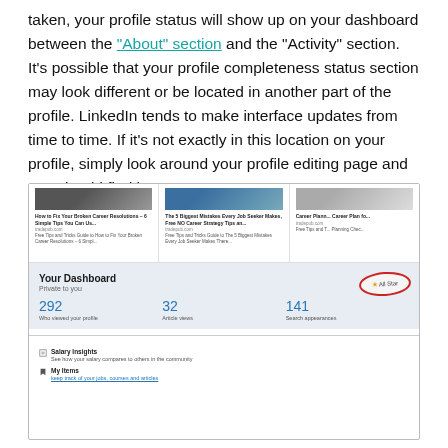taken, your profile status will show up on your dashboard between the "About" section and the "Activity" section. It's possible that your profile completeness status section may look different or be located in another part of the profile. LinkedIn tends to make interface updates from time to time. If it's not exactly in this location on your profile, simply look around your profile editing page and you should find it.
[Figure (screenshot): Screenshot of LinkedIn dashboard showing articles strip at top, 'Your Dashboard' section with 'All Star' badge circled in red, stats showing 292 Who viewed your profile, 32 Article views, 141 Search appearances, plus Salary Insights and My Items sections.]